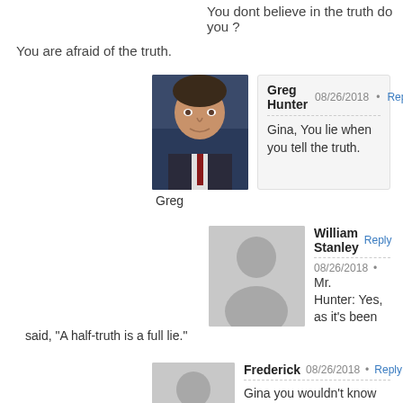You dont believe in the truth do you ?
You are afraid of the truth.
[Figure (photo): Profile photo of Greg Hunter, a man in a suit against a blue background]
Greg Hunter  08/26/2018 · Reply
Gina, You lie when you tell the truth.
Greg
[Figure (illustration): Generic grey silhouette avatar for William Stanley]
William Stanley  Reply
08/26/2018 ·
Mr. Hunter: Yes, as it's been said, "A half-truth is a full lie."
[Figure (illustration): Generic grey silhouette avatar for Frederick]
Frederick  08/26/2018 · Reply
Gina you wouldn't know the truth if it